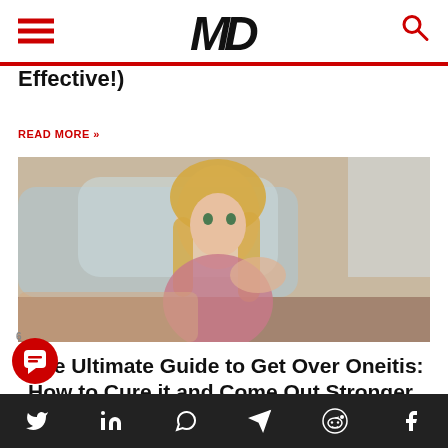MD (logo with hamburger menu and search icon)
Effective!)
READ MORE »
[Figure (photo): Blonde woman in pink top posing near bed with pillows in background]
The Ultimate Guide to Get Over Oneitis: How to Cure it and Come Out Stronger
READ MORE »
Social icons: Twitter, LinkedIn, WhatsApp, Telegram, Reddit, Facebook